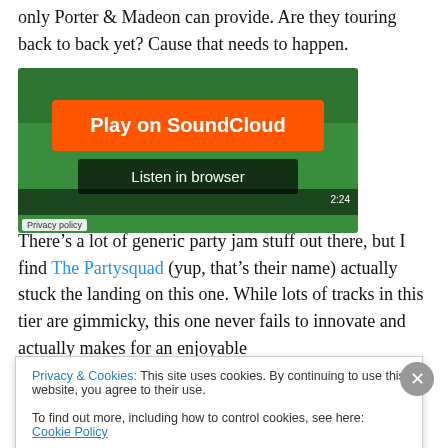only Porter & Madeon can provide. Are they touring back to back yet? Cause that needs to happen.
[Figure (screenshot): SoundCloud embedded player with green background artwork, orange 'Play on SoundCloud' button, dark 'Listen in browser' button, waveform bar, time stamp 2:24, and Privacy policy label.]
There's a lot of generic party jam stuff out there, but I find The Partysquad (yup, that's their name) actually stuck the landing on this one. While lots of tracks in this tier are gimmicky, this one never fails to innovate and actually makes for an enjoyable
Privacy & Cookies: This site uses cookies. By continuing to use this website, you agree to their use.
To find out more, including how to control cookies, see here: Cookie Policy
Close and accept